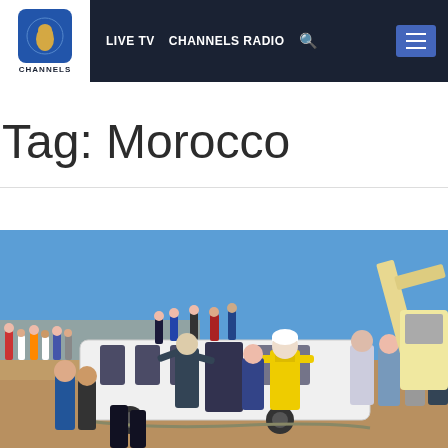Channels TV — LIVE TV  CHANNELS RADIO
Tag: Morocco
[Figure (photo): A overturned bus at an accident scene in Morocco. Emergency workers, people in high-visibility vests, and onlookers surround the white bus lying on its side. A crane is visible in the background on the right. The sky is clear blue.]